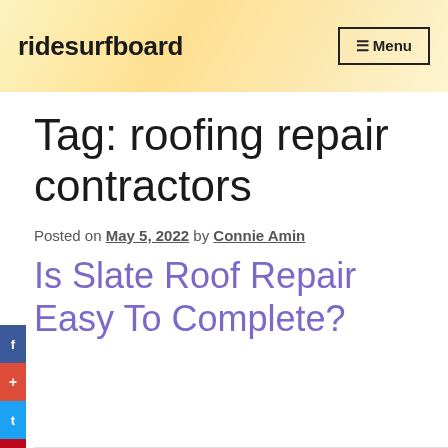ridesurfboard   ≡ Menu
Tag: roofing repair contractors
Posted on May 5, 2022 by Connie Amin
Is Slate Roof Repair Easy To Complete?